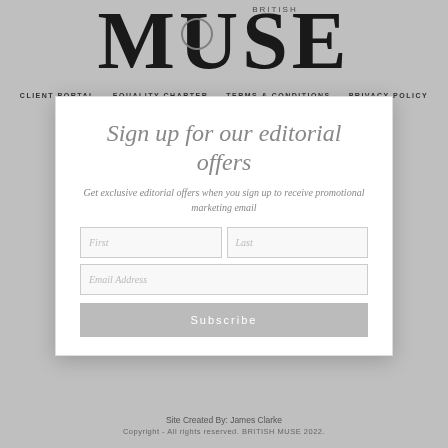[Figure (logo): BRITISH MUSE magazine logo — large serif M U S E text with BRITISH written small above center]
CLIENT PORTAL | EQUALITY CHARTER | TERMS & CONDITIONS | PRIVACY POLICY
Sign up for our editorial offers
Get exclusive editorial offers when you sign up to receive promotional marketing email
First | Last (form fields)
Email Address (form field)
Subscribe (button)
Site Created By: James Clarke
Copyright - All rights reserved. BRITISH MUSE 2022.